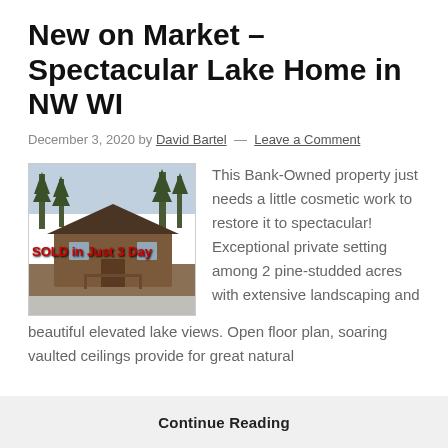New on Market – Spectacular Lake Home in NW WI
December 3, 2020 by David Bartel — Leave a Comment
[Figure (photo): Exterior photo of a lake home cabin with trees and snow on ground, overlaid with red text reading 'SOLD in Just 3 Day']
This Bank-Owned property just needs a little cosmetic work to restore it to spectacular! Exceptional private setting among 2 pine-studded acres with extensive landscaping and beautiful elevated lake views. Open floor plan, soaring vaulted ceilings provide for great natural
Continue Reading